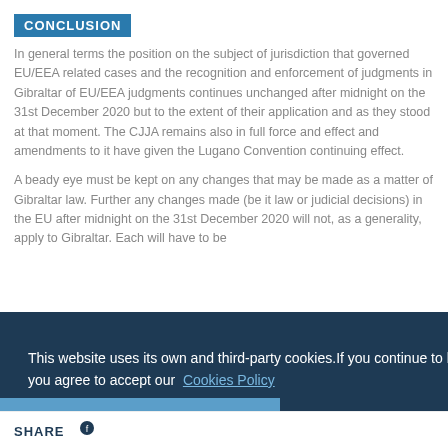CONCLUSION
In general terms the position on the subject of jurisdiction that governed EU/EEA related cases and the recognition and enforcement of judgments in Gibraltar of EU/EEA judgments continues unchanged after midnight on the 31st December 2020 but to the extent of their application and as they stood at that moment. The CJJA remains also in full force and effect and amendments to it have given the Lugano Convention continuing effect.
A beady eye must be kept on any changes that may be made as a matter of Gibraltar law. Further any changes made (be it law or judicial decisions) in the EU after midnight on the 31st December 2020 will not, as a generality, apply to Gibraltar. Each will have to be
This website uses its own and third-party cookies.If you continue to browse the page, you agree to accept our Cookies Policy
I Agree
CONTACT A LAWYER >
SHARE